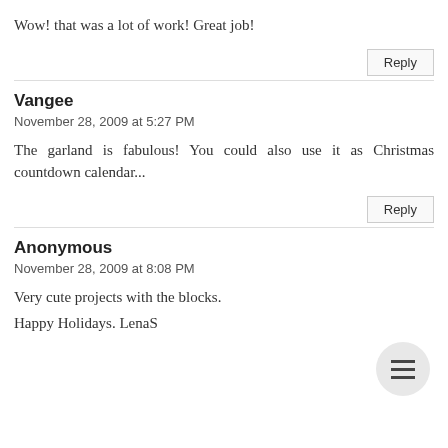Wow! that was a lot of work! Great job!
Reply
Vangee
November 28, 2009 at 5:27 PM
The garland is fabulous! You could also use it as Christmas countdown calendar...
Reply
Anonymous
November 28, 2009 at 8:08 PM
Very cute projects with the blocks.
Happy Holidays. LenaS